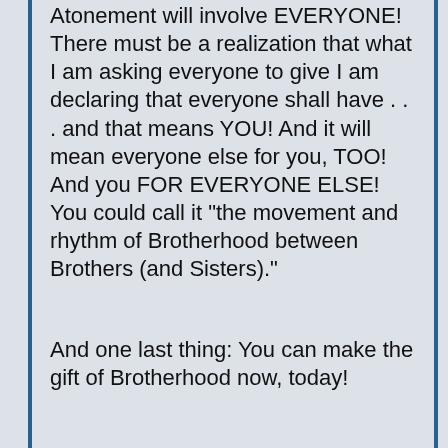Atonement will involve EVERYONE! There must be a realization that what I am asking everyone to give I am declaring that everyone shall have . . . and that means YOU! And it will mean everyone else for you, TOO! And you FOR EVERYONE ELSE! You could call it "the movement and rhythm of Brotherhood between Brothers (and Sisters)."
And one last thing: You can make the gift of Brotherhood now, today!
You will meet no one today who is not humbled by something — experiencing inadequacy in some way . . . and feeling guilt . . .